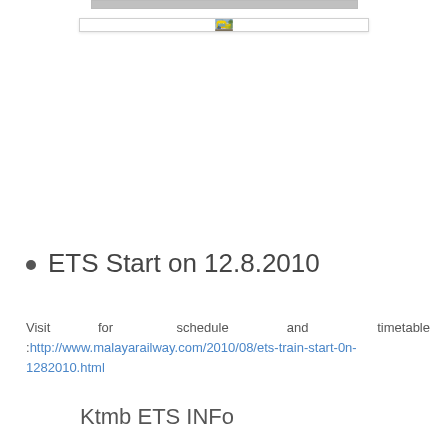[Figure (photo): Photo of a yellow and silver KTMB ETS electric train on railway tracks, front view with trees in background]
ETS Start on 12.8.2010
Visit for schedule and timetable :http://www.malayarailway.com/2010/08/ets-train-start-0n-1282010.html
Ktmb ETS INFO